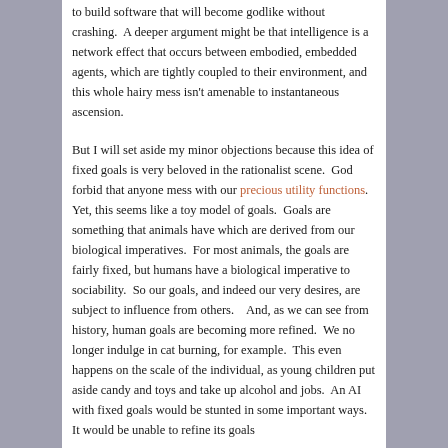to build software that will become godlike without crashing.  A deeper argument might be that intelligence is a network effect that occurs between embodied, embedded agents, which are tightly coupled to their environment, and this whole hairy mess isn't amenable to instantaneous ascension.
But I will set aside my minor objections because this idea of fixed goals is very beloved in the rationalist scene.  God forbid that anyone mess with our precious utility functions.  Yet, this seems like a toy model of goals.  Goals are something that animals have which are derived from our biological imperatives.  For most animals, the goals are fairly fixed, but humans have a biological imperative to sociability.  So our goals, and indeed our very desires, are subject to influence from others.   And, as we can see from history, human goals are becoming more refined.  We no longer indulge in cat burning, for example.  This even happens on the scale of the individual, as young children put aside candy and toys and take up alcohol and jobs.  An AI with fixed goals would be stunted in some important ways.  It would be unable to refine its goals...